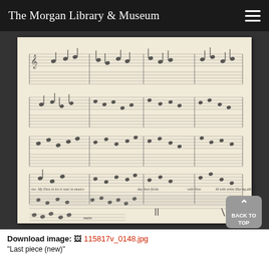The Morgan Library & Museum
[Figure (illustration): Handwritten musical manuscript page showing multiple staves with handwritten musical notation including notes, clefs, dynamics, and text annotations. The manuscript appears to be on aged cream/beige paper.]
Download image: 115817v_0148.jpg
"Last piece (new)"